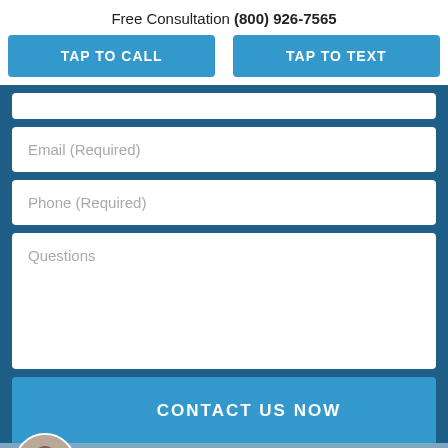Free Consultation (800) 926-7565
TAP TO CALL
TAP TO TEXT
Email (Required)
Phone (Required)
Questions
CONTACT US NOW
LIVE CHAT  START NOW